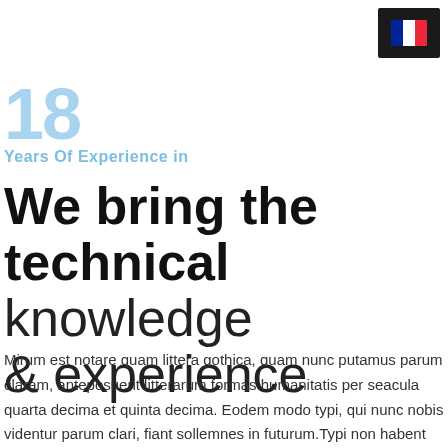[Figure (illustration): French flag icon inside a dark square box in the top-right corner]
18
Years Of Experience in
We bring the technical knowledge & experience
Mirum est notare quam littera gothica, quam nunc putamus parum claram, anteposuerit litterarum formas humanitatis per seacula quarta decima et quinta decima. Eodem modo typi, qui nunc nobis videntur parum clari, fiant sollemnes in futurum.Typi non habent clari-tatem.